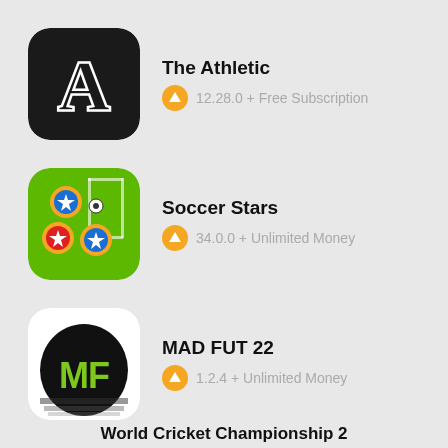[Figure (screenshot): The Athletic app icon - black rounded square with serif letter A in white]
The Athletic
12.28.0 + Free Subscription
[Figure (screenshot): Soccer Stars app icon - green soccer field with colorful puck pieces]
Soccer Stars
34.0.0 + Unlimited Money
[Figure (screenshot): MAD FUT 22 app icon - white rounded square with MF logo in green on black background with zebra-stripe pattern]
MAD FUT 22
1.2.4 + Unlimited Money
World Cricket Championship 2